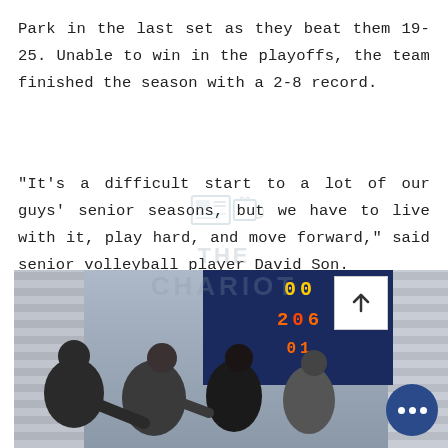Park in the last set as they beat them 19-25. Unable to win in the playoffs, the team finished the season with a 2-8 record.
“It’s a difficult start to a lot of our guys’ senior seasons, but we have to live with it, play hard, and move forward,” said senior volleyball player David Son.
[Figure (photo): Photo of volleyball players inside a gym with a blue scoreboard visible in the background showing scores. A white arrow button and blue more-options button are overlaid on the image.]